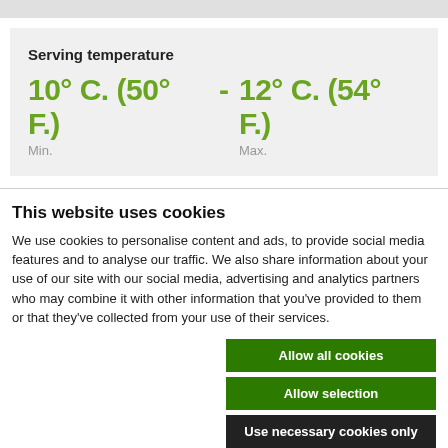Serving temperature
10° C. (50° F.)  -  12° C. (54° F.)
Min.                    Max.
This website uses cookies
We use cookies to personalise content and ads, to provide social media features and to analyse our traffic. We also share information about your use of our site with our social media, advertising and analytics partners who may combine it with other information that you've provided to them or that they've collected from your use of their services.
Allow all cookies
Allow selection
Use necessary cookies only
Necessary  Preferences  Statistics  Marketing  Show details